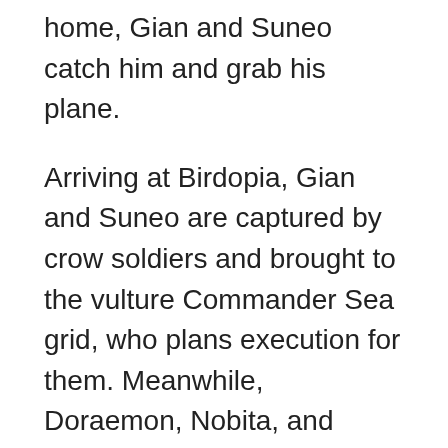home, Gian and Suneo catch him and grab his plane.
Arriving at Birdopia, Gian and Suneo are captured by crow soldiers and brought to the vulture Commander Sea grid, who plans execution for them. Meanwhile, Doraemon, Nobita, and Shizuka find Gusuke near the owl Professor Hou’s house after fleeing from the same crow soldiers with the help of an ostrich taxi service.
Hou explains that Birdopia is a world that existed far away from the human world and is connected only during bird migration, which is guarded by Bird Migration Patrolling Troops. Sigrid was once a